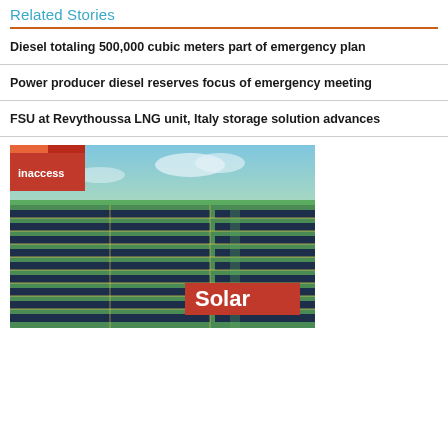Related Stories
Diesel totaling 500,000 cubic meters part of emergency plan
Power producer diesel reserves focus of emergency meeting
FSU at Revythoussa LNG unit, Italy storage solution advances
[Figure (photo): Aerial view of a large solar panel farm with green fields, overlaid with 'inaccess' logo badge and a red 'Solar' label in the bottom right.]